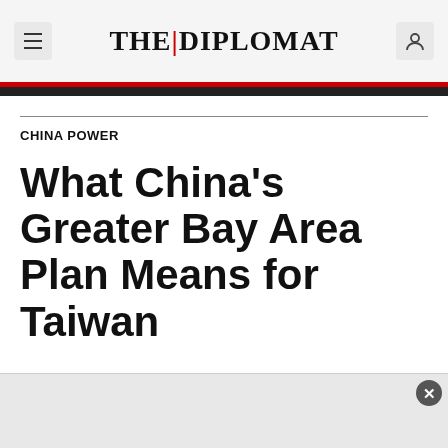THE DIPLOMAT
CHINA POWER
What China's Greater Bay Area Plan Means for Taiwan